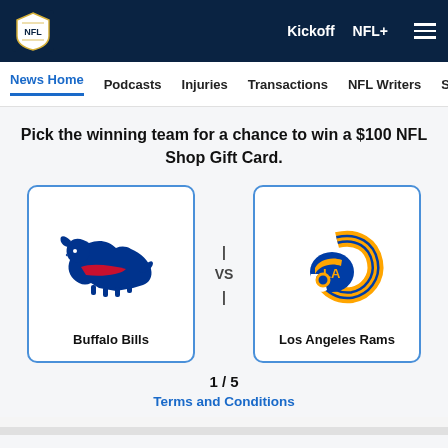[Figure (logo): NFL shield logo in top navigation bar]
Kickoff  NFL+  ☰
News Home  Podcasts  Injuries  Transactions  NFL Writers  Se
Pick the winning team for a chance to win a $100 NFL Shop Gift Card.
[Figure (logo): Buffalo Bills logo — blue charging buffalo with red stripe]
|
VS
|
[Figure (logo): Los Angeles Rams logo — blue and gold ram horns]
Buffalo Bills
Los Angeles Rams
1 / 5
Terms and Conditions